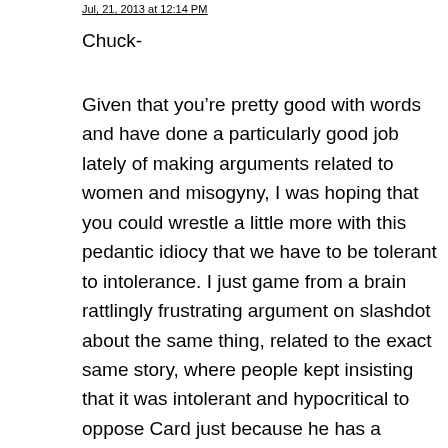[date/avatar header area]
Chuck-
Given that you’re pretty good with words and have done a particularly good job lately of making arguments related to women and misogyny, I was hoping that you could wrestle a little more with this pedantic idiocy that we have to be tolerant to intolerance. I just game from a brain rattlingly frustrating argument on slashdot about the same thing, related to the exact same story, where people kept insisting that it was intolerant and hypocritical to oppose Card just because he has a